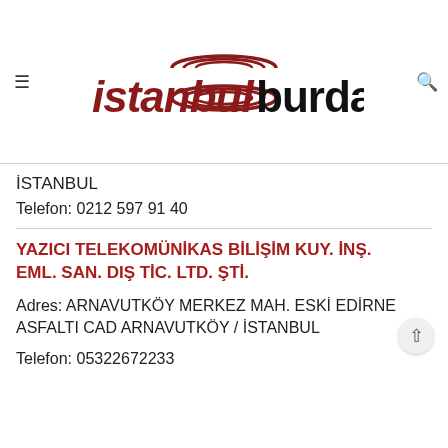[Figure (logo): istanbulburda logo with circular arc design above and below the text. 'istanbul' in dark red/maroon italic, 'burda' in black bold. Menu icon (three lines) on the left, search icon (magnifying glass) on the right.]
İSTANBUL
Telefon: 0212 597 91 40
YAZICI TELEKOMÜNİKAS BİLİŞİM KUY. İNŞ. EML. SAN. DIŞ TİC. LTD. ŞTİ.
Adres: ARNAVUTKÖY MERKEZ MAH. ESKİ EDİRNE ASFALTI CAD ARNAVUTKÖY / İSTANBUL
Telefon: 05322672233